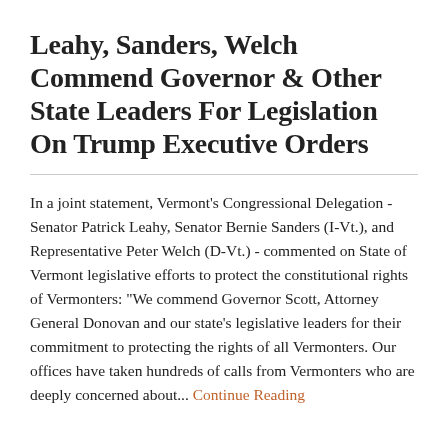Leahy, Sanders, Welch Commend Governor & Other State Leaders For Legislation On Trump Executive Orders
In a joint statement, Vermont's Congressional Delegation - Senator Patrick Leahy, Senator Bernie Sanders (I-Vt.), and Representative Peter Welch (D-Vt.) - commented on State of Vermont legislative efforts to protect the constitutional rights of Vermonters: "We commend Governor Scott, Attorney General Donovan and our state's legislative leaders for their commitment to protecting the rights of all Vermonters. Our offices have taken hundreds of calls from Vermonters who are deeply concerned about... Continue Reading